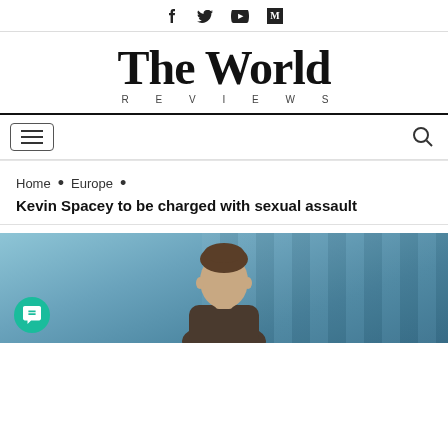Social media icons: Facebook, Twitter, YouTube, Medium
The World REVIEWS
Navigation bar with hamburger menu and search icon
Home • Europe •
Kevin Spacey to be charged with sexual assault
[Figure (photo): Photo of a man (Kevin Spacey) from below the chin up, with blurred building background in blue tones. A teal chat button appears in the lower left.]